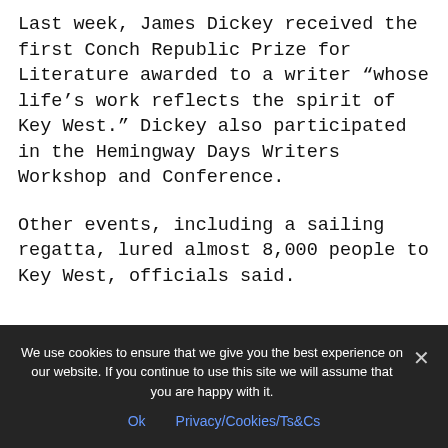Last week, James Dickey received the first Conch Republic Prize for Literature awarded to a writer “whose life’s work reflects the spirit of Key West.” Dickey also participated in the Hemingway Days Writers Workshop and Conference.
Other events, including a sailing regatta, lured almost 8,000 people to Key West, officials said.
We use cookies to ensure that we give you the best experience on our website. If you continue to use this site we will assume that you are happy with it.